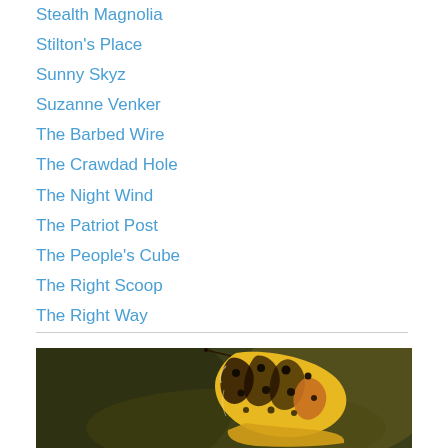Stealth Magnolia
Stilton's Place
Sunny Skyz
Suzanne Venker
The Barbed Wire
The Crawdad Hole
The Night Wind
The Patriot Post
The People's Cube
The Right Scoop
The Right Way
[Figure (photo): Close-up photograph of a yellow and black patterned butterfly wing against a dark green blurred background]